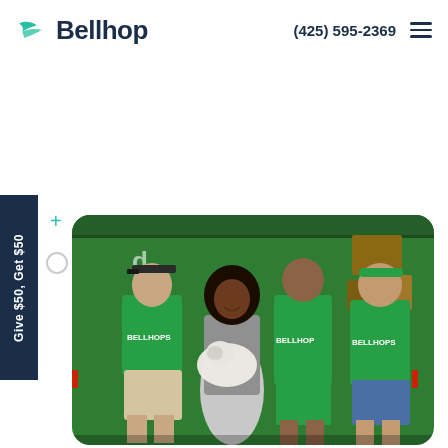[Figure (logo): Bellhop logo with green wing/arrow icon and dark navy text]
(425) 595-2369
Give $50, Get $50
[Figure (photo): A woman holding a small white fluffy dog, standing with three men all wearing green BELLHOPS t-shirts, in front of a green moving truck]